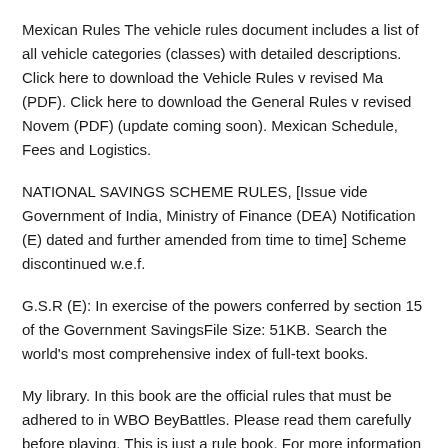Mexican Rules The vehicle rules document includes a list of all vehicle categories (classes) with detailed descriptions. Click here to download the Vehicle Rules v revised Ma (PDF). Click here to download the General Rules v revised Novem (PDF) (update coming soon). Mexican Schedule, Fees and Logistics.
NATIONAL SAVINGS SCHEME RULES, [Issue vide Government of India, Ministry of Finance (DEA) Notification (E) dated and further amended from time to time] Scheme discontinued w.e.f.
G.S.R (E): In exercise of the powers conferred by section 15 of the Government SavingsFile Size: 51KB. Search the world's most comprehensive index of full-text books.
My library. In this book are the official rules that must be adhered to in WBO BeyBattles. Please read them carefully before playing. This is just a rule book. For more information about Beyblade and the World Beyblade Organization, visit our official website at.
World Beyblade Organization Official Rule Book Release 6 3File Size: